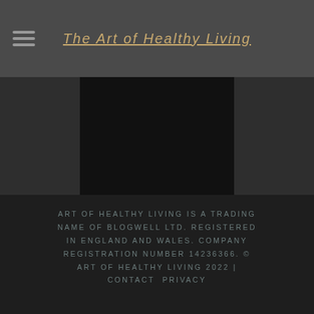The Art of Healthy Living
[Figure (screenshot): Dark black panel showing Instagram feed content with Load More and Follow on Instagram buttons]
Load More...
Follow on Instagram
ART OF HEALTHY LIVING IS A TRADING NAME OF BLOGWELL LTD. REGISTERED IN ENGLAND AND WALES. COMPANY REGISTRATION NUMBER 14236366. © ART OF HEALTHY LIVING 2022 | CONTACT PRIVACY